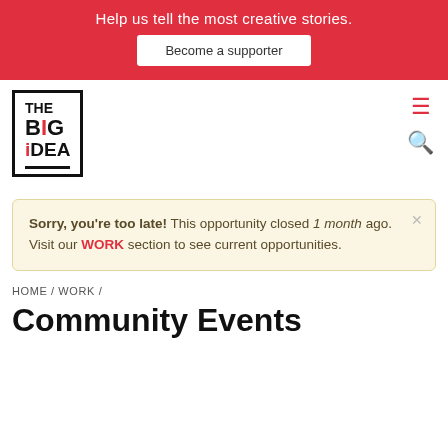Help us tell the most creative stories. Become a supporter
[Figure (logo): The Big Idea logo in a black bordered box]
Sorry, you're too late! This opportunity closed 1 month ago. Visit our WORK section to see current opportunities.
HOME / WORK /
Community Events